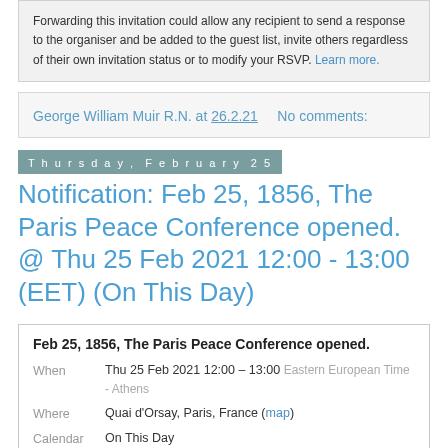Forwarding this invitation could allow any recipient to send a response to the organiser and be added to the guest list, invite others regardless of their own invitation status or to modify your RSVP. Learn more.
George William Muir R.N. at 26.2.21   No comments:
Thursday, February 25
Notification: Feb 25, 1856, The Paris Peace Conference opened. @ Thu 25 Feb 2021 12:00 - 13:00 (EET) (On This Day)
|  | Feb 25, 1856, The Paris Peace Conference opened. |
| When | Thu 25 Feb 2021 12:00 – 13:00 Eastern European Time - Athens |
| Where | Quai d'Orsay, Paris, France (map) |
| Calendar | On This Day |
| Who | (Guest list has been hidden at organiser's request) |